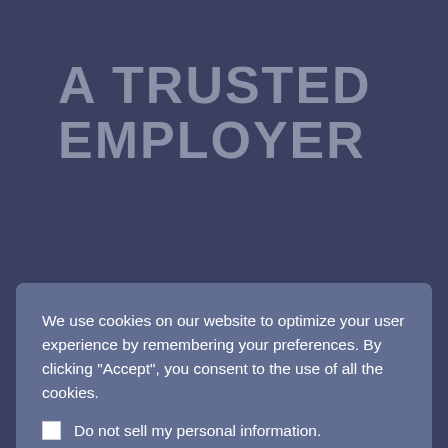A TRUSTED EMPLOYER
[Figure (screenshot): Cookie consent overlay dialog box with text, checkbox, and two buttons (Cookie settings, ACCEPT)]
and learn new skills. The opportunity to be surrounded by smart, ambitious, motivated people day in and day out. That's the kind of caereer you can expect at Dan-Loc Group. Sound appealing? Come join us!